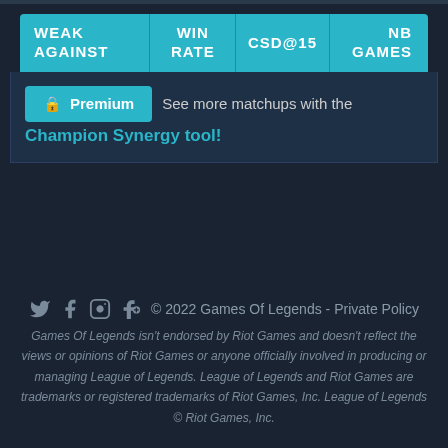| WEAK AGAINST | WIN RATE | CSD@15 | NB GAMES |
| --- | --- | --- | --- |
🔒 Premium  See more matchups with the Champion Synergy tool!
© 2022 Games Of Legends - Private Policy
Games Of Legends isn't endorsed by Riot Games and doesn't reflect the views or opinions of Riot Games or anyone officially involved in producing or managing League of Legends. League of Legends and Riot Games are trademarks or registered trademarks of Riot Games, Inc. League of Legends © Riot Games, Inc.